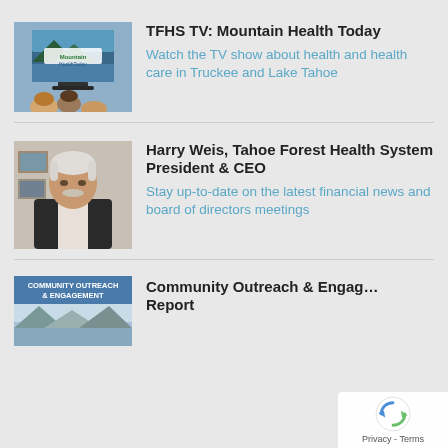[Figure (photo): A TV showing Mountain Health Today logo, with a family watching in the foreground]
TFHS TV: Mountain Health Today
Watch the TV show about health and health care in Truckee and Lake Tahoe
[Figure (photo): Portrait of Harry Weis, Tahoe Forest Health System President & CEO]
Harry Weis, Tahoe Forest Health System President & CEO
Stay up-to-date on the latest financial news and board of directors meetings
[Figure (photo): Community Outreach & Engagement Report cover image]
Community Outreach & Engagement Report